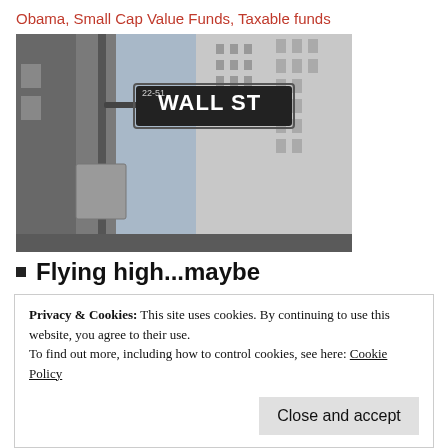Obama, Small Cap Value Funds, Taxable funds
[Figure (photo): Wall Street sign photograph showing the iconic Wall Street street sign on a pole with tall buildings in the background, taken at an upward angle.]
Flying high...maybe
Privacy & Cookies: This site uses cookies. By continuing to use this website, you agree to their use. To find out more, including how to control cookies, see here: Cookie Policy
"not that much money"